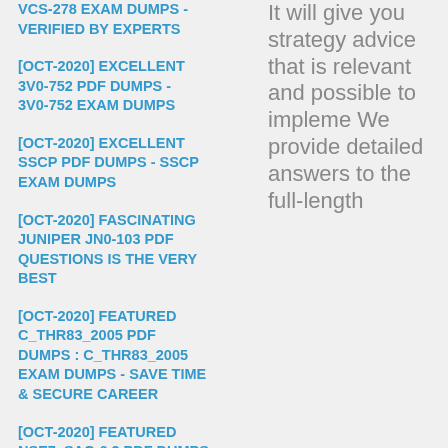VCS-278 EXAM DUMPS - VERIFIED BY EXPERTS
[OCT-2020] EXCELLENT 3V0-752 PDF DUMPS - 3V0-752 EXAM DUMPS
[OCT-2020] EXCELLENT SSCP PDF DUMPS - SSCP EXAM DUMPS
[OCT-2020] FASCINATING JUNIPER JN0-103 PDF QUESTIONS IS THE VERY BEST
[OCT-2020] FEATURED C_THR83_2005 PDF DUMPS : C_THR83_2005 EXAM DUMPS - SAVE TIME & SECURE CAREER
[OCT-2020] FEATURED NSE7_SAC-6.2 PDF DUMPS : NSE7_SAC-6.2 EXAM DUMPS - EASY & HASSLE-FREE
[OCT-2020] GET 100% ACTUAL MARKETING-
It will give you strategy advice that is relevant and possible to impleme We provide detailed answers to the full-length